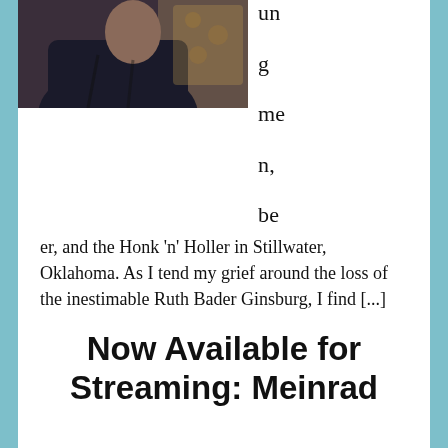[Figure (photo): A person dressed in dark robes seated in a chair with decorative upholstery, photographed in a formal portrait style.]
un

g

me

n,

be
er, and the Honk 'n' Holler in Stillwater, Oklahoma. As I tend my grief around the loss of the inestimable Ruth Bader Ginsburg, I find [...]
Filed Under: News
Now Available for Streaming: Meinrad